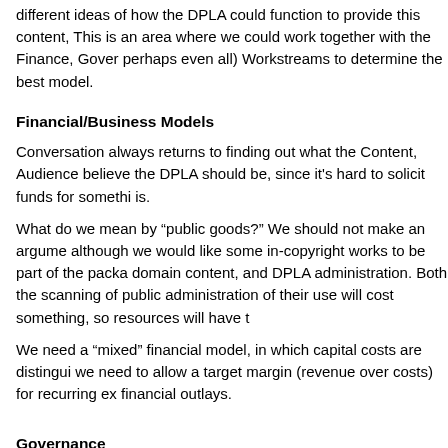different ideas of how the DPLA could function to provide this content. This is an area where we could work together with the Finance, Governance (and perhaps even all) Workstreams to determine the best model.
Financial/Business Models
Conversation always returns to finding out what the Content, Audience... believe the DPLA should be, since it's hard to solicit funds for something... is.
What do we mean by “public goods?” We should not make an argument... although we would like some in-copyright works to be part of the package... domain content, and DPLA administration. Both the scanning of public... administration of their use will cost something, so resources will have t...
We need a “mixed” financial model, in which capital costs are distingui... we need to allow a target margin (revenue over costs) for recurring ex... financial outlays.
Governance
Nathaniel Levy and Kenny Whitebloom (Berkman Research Team) sub... regarding requested research into open meeting laws, related formats...